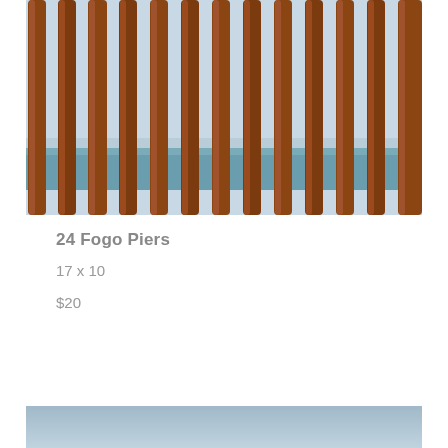[Figure (photo): Close-up photograph of vertical brown/rust-colored cylindrical pier posts with a blue ocean and hazy sky visible in the background between the posts.]
24 Fogo Piers
17 x 10
$20
[Figure (photo): Partial view of a second photograph showing a light blue/grey gradient sky, cropped at the bottom of the page.]